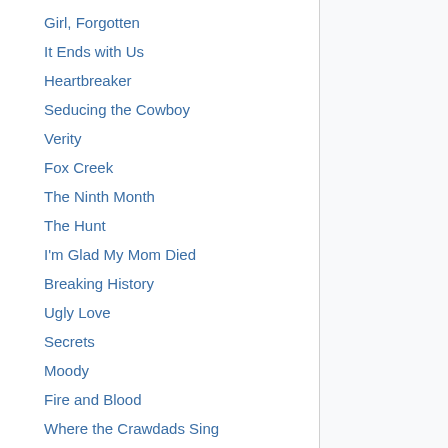Girl, Forgotten
It Ends with Us
Heartbreaker
Seducing the Cowboy
Verity
Fox Creek
The Ninth Month
The Hunt
I'm Glad My Mom Died
Breaking History
Ugly Love
Secrets
Moody
Fire and Blood
Where the Crawdads Sing
Born of Blood
The Affair
Lightlark (Book 1)
The 6:20 Man
All Good People Here